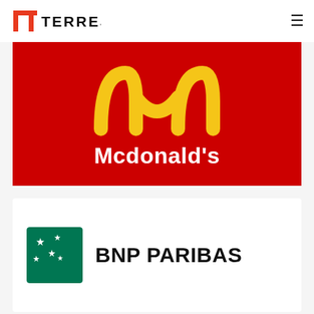TERRES & Cie
[Figure (logo): McDonald's logo on red background with golden arches and text 'Mcdonald's' in white]
[Figure (logo): BNP Paribas logo: green square with white star constellation icon, and 'BNP PARIBAS' text in bold black]